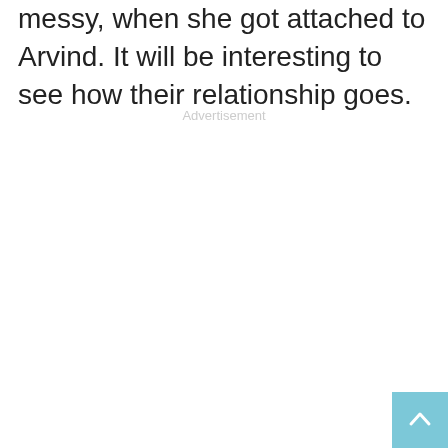messy, when she got attached to Arvind. It will be interesting to see how their relationship goes.
Advertisement